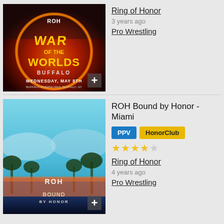[Figure (photo): ROH War of the Worlds Buffalo event poster with fire/orange theme, ROH and NJPW logos, Wednesday May 8th at Buffalo Riverworks]
Ring of Honor
3 years ago
Pro Wrestling
[Figure (photo): ROH Bound by Honor Miami event poster with blue sky, palm trees, Miami waterfront and ROH Bound by Honor logo]
ROH Bound by Honor - Miami
PPV  HonorClub
★★★★☆
Ring of Honor
4 years ago
Pro Wrestling